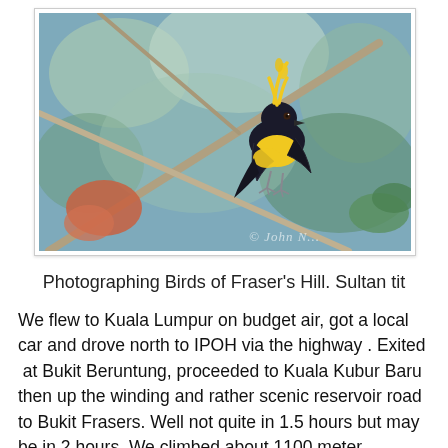[Figure (photo): A Sultan tit bird with black plumage and bright yellow breast and crest, perched on a branch. Photo watermarked '© John N...']
Photographing Birds of Fraser's Hill. Sultan tit
We flew to Kuala Lumpur on budget air, got a local car and drove north to IPOH via the highway . Exited  at Bukit Beruntung, proceeded to Kuala Kubur Baru then up the winding and rather scenic reservoir road to Bukit Frasers. Well not quite in 1.5 hours but may be in 2 hours .We climbed about 1100 meter